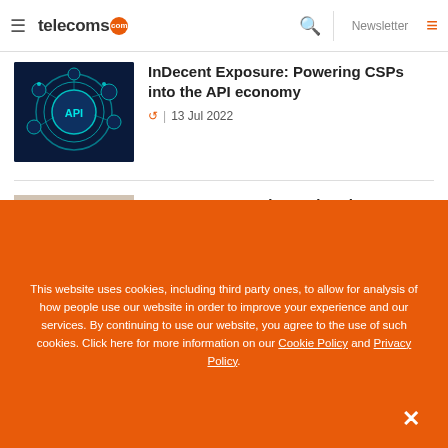telecoms.com
[Figure (screenshot): Article thumbnail: dark blue background with glowing teal API network diagram and text 'API' in the center]
InDecent Exposure: Powering CSPs into the API economy
13 Jul 2022
[Figure (photo): Article thumbnail: blurred outdoors photo, likely showing infrastructure or weather-related scene]
Can Your Network Weather the
This website uses cookies, including third party ones, to allow for analysis of how people use our website in order to improve your experience and our services. By continuing to use our website, you agree to the use of such cookies. Click here for more information on our Cookie Policy and Privacy Policy.